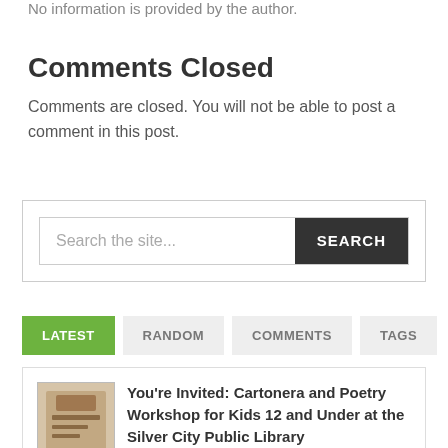No information is provided by the author.
Comments Closed
Comments are closed. You will not be able to post a comment in this post.
[Figure (screenshot): Search bar with placeholder text 'Search the site...' and a dark 'SEARCH' button]
LATEST
RANDOM
COMMENTS
TAGS
You're Invited: Cartonera and Poetry Workshop for Kids 12 and Under at the Silver City Public Library
Posted 1 day ago